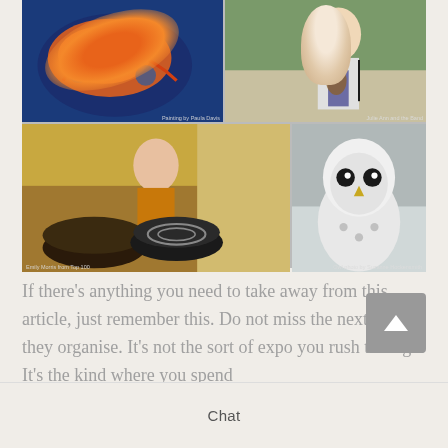[Figure (photo): Photo collage with four images: top-left shows a colorful painting of a dragon/mermaid in blue and orange tones; top-right shows a musician playing guitar outdoors; bottom-left shows a smiling woman at a market stall with decorative pottery/bowls; bottom-right shows a white barn owl close-up photo.]
If there’s anything you need to take away from this article, just remember this. Do not miss the next event they organise. It’s not the sort of expo you rush through. It’s the kind where you spend
Chat